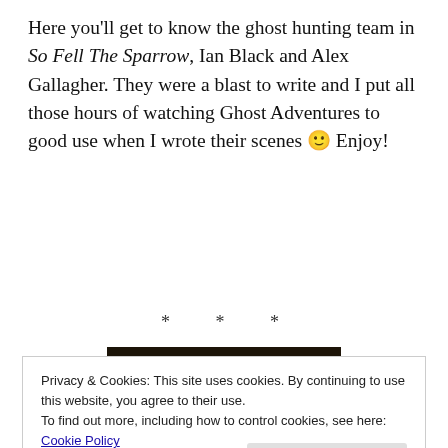Here you'll get to know the ghost hunting team in So Fell The Sparrow, Ian Black and Alex Gallagher. They were a blast to write and I put all those hours of watching Ghost Adventures to good use when I wrote their scenes 🙂 Enjoy!
* * *
[Figure (photo): Book cover banner showing 'INTERNATIONAL BESTSELLING AUTHOR KATIE JENNINGS' with dark background and handwritten text overlay]
Privacy & Cookies: This site uses cookies. By continuing to use this website, you agree to their use.
To find out more, including how to control cookies, see here: Cookie Policy
Close and accept